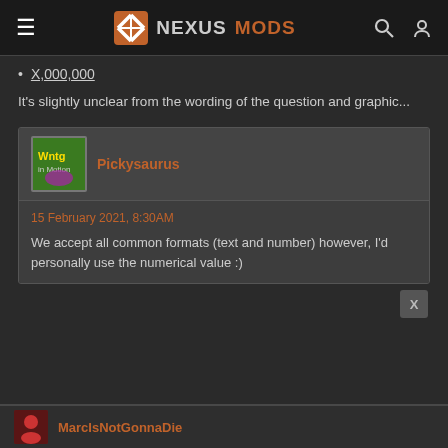NEXUSMODS
X,000,000
It's slightly unclear from the wording of the question and graphic...
Pickysaurus
15 February 2021, 8:30AM
We accept all common formats (text and number) however, I'd personally use the numerical value :)
MarcIsNotGonnaDie